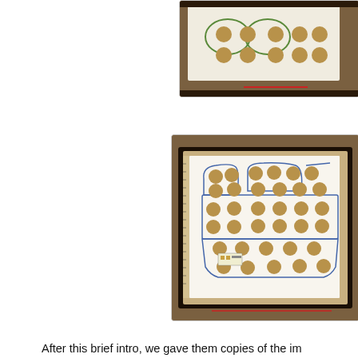[Figure (photo): Partial view of a whiteboard/scanner showing a diagram with circular dots arranged in a pattern on white paper, dark frame visible, green outline shapes on paper]
[Figure (photo): Photo of a large flatbed scanner or digitizer with a white paper inside showing a hand-drawn outline of a sofa/couch shape with brown circular dots arranged in rows across the diagram, dark wooden frame, ruler on left side]
After this brief intro, we gave them copies of the im